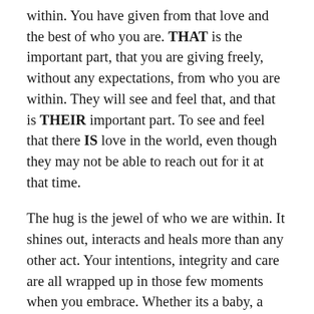within. You have given from that love and the best of who you are. THAT is the important part, that you are giving freely, without any expectations, from who you are within. They will see and feel that, and that is THEIR important part. To see and feel that there IS love in the world, even though they may not be able to reach out for it at that time.
The hug is the jewel of who we are within. It shines out, interacts and heals more than any other act. Your intentions, integrity and care are all wrapped up in those few moments when you embrace. Whether its a baby, a child or a lover it has great meaning. Stand in that truth, break through your walls and be in a space that says it all. And especially with someone you love very much